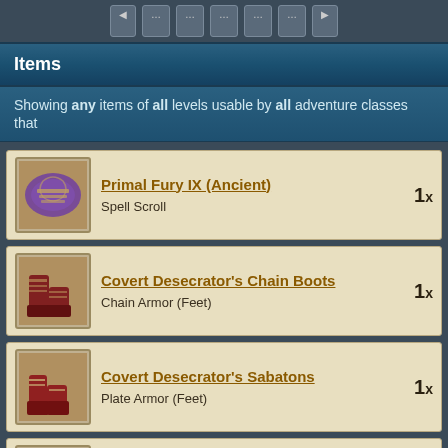Items
Showing any items of all levels usable by all adventure classes that
Primal Fury IX (Ancient) — Spell Scroll — 1x
Covert Desecrator's Chain Boots — Chain Armor (Feet) — 1x
Covert Desecrator's Sabatons — Plate Armor (Feet) — 1x
Dire Balm XII (Master) — Spell Scroll — 1x
Eviscerate X (Master) — Spell Scroll — 1x